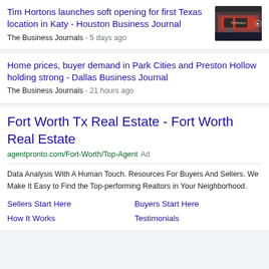Tim Hortons launches soft opening for first Texas location in Katy - Houston Business Journal
The Business Journals - 5 days ago
[Figure (photo): Photo of Tim Hortons restaurant exterior]
Home prices, buyer demand in Park Cities and Preston Hollow holding strong - Dallas Business Journal
The Business Journals - 21 hours ago
Fort Worth Tx Real Estate - Fort Worth Real Estate
agentpronto.com/Fort-Worth/Top-Agent Ad
Data Analysis With A Human Touch. Resources For Buyers And Sellers. We Make It Easy to Find the Top-performing Realtors in Your Neighborhood.
Sellers Start Here
Buyers Start Here
How It Works
Testimonials